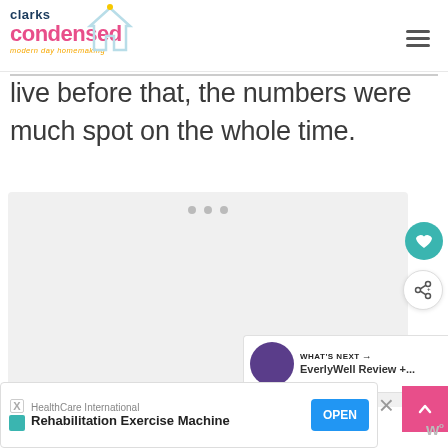clarks condensed — modern day homemaking
live before that, the numbers were pretty much spot on the whole time.
[Figure (other): Grey placeholder content box with three dots centered at top]
WHAT'S NEXT → EverlyWell Review +...
HealthCare International Rehabilitation Exercise Machine OPEN